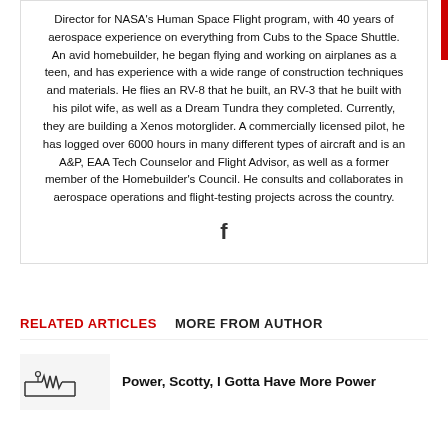Director for NASA's Human Space Flight program, with 40 years of aerospace experience on everything from Cubs to the Space Shuttle. An avid homebuilder, he began flying and working on airplanes as a teen, and has experience with a wide range of construction techniques and materials. He flies an RV-8 that he built, an RV-3 that he built with his pilot wife, as well as a Dream Tundra they completed. Currently, they are building a Xenos motorglider. A commercially licensed pilot, he has logged over 6000 hours in many different types of aircraft and is an A&P, EAA Tech Counselor and Flight Advisor, as well as a former member of the Homebuilder's Council. He consults and collaborates in aerospace operations and flight-testing projects across the country.
f
RELATED ARTICLES   MORE FROM AUTHOR
Power, Scotty, I Gotta Have More Power